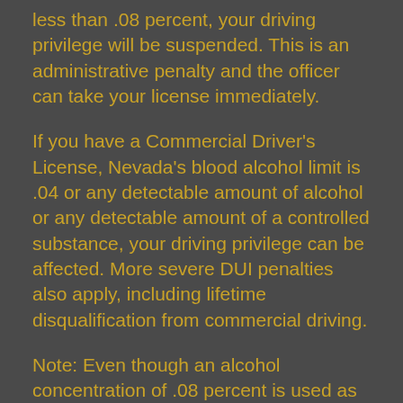less than .08 percent, your driving privilege will be suspended. This is an administrative penalty and the officer can take your license immediately.
If you have a Commercial Driver's License, Nevada's blood alcohol limit is .04 or any detectable amount of alcohol or any detectable amount of a controlled substance, your driving privilege can be affected. More severe DUI penalties also apply, including lifetime disqualification from commercial driving.
Note: Even though an alcohol concentration of .08 percent is used as a guide, you can be arrested and convicted with a lower BAC reading or for driving under the influence of controlled or prohibited substances. (NRS 484C.110)
A driver license revocation is a separate action from